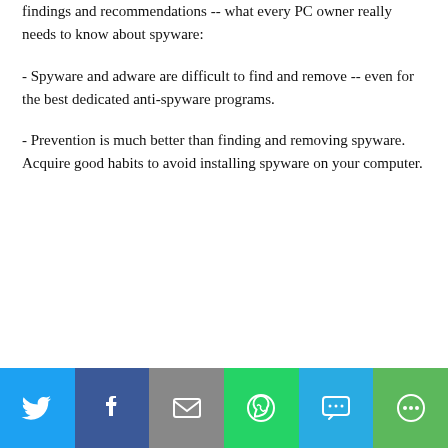findings and recommendations -- what every PC owner really needs to know about spyware:
- Spyware and adware are difficult to find and remove -- even for the best dedicated anti-spyware programs.
- Prevention is much better than finding and removing spyware. Acquire good habits to avoid installing spyware on your computer.
[Figure (infographic): Social sharing bar with buttons for Twitter, Facebook, Email, WhatsApp, SMS, and More]